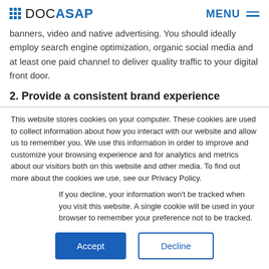DOCASAP | MENU
banners, video and native advertising. You should ideally employ search engine optimization, organic social media and at least one paid channel to deliver quality traffic to your digital front door.
2. Provide a consistent brand experience
This website stores cookies on your computer. These cookies are used to collect information about how you interact with our website and allow us to remember you. We use this information in order to improve and customize your browsing experience and for analytics and metrics about our visitors both on this website and other media. To find out more about the cookies we use, see our Privacy Policy.
If you decline, your information won’t be tracked when you visit this website. A single cookie will be used in your browser to remember your preference not to be tracked.
Accept | Decline